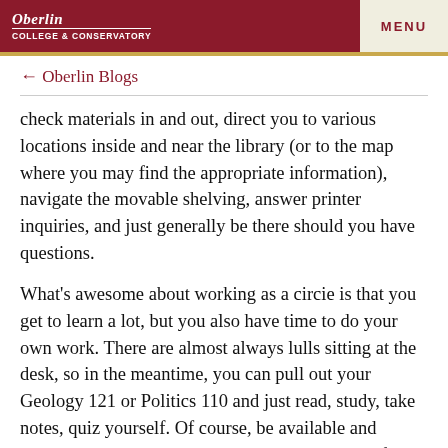COLLEGE & CONSERVATORY   MENU
← Oberlin Blogs
check materials in and out, direct you to various locations inside and near the library (or to the map where you may find the appropriate information), navigate the movable shelving, answer printer inquiries, and just generally be there should you have questions.
What's awesome about working as a circie is that you get to learn a lot, but you also have time to do your own work. There are almost always lulls sitting at the desk, so in the meantime, you can pull out your Geology 121 or Politics 110 and just read, study, take notes, quiz yourself. Of course, be available and attentive to borrowers, but you also spend a lot of time doing…